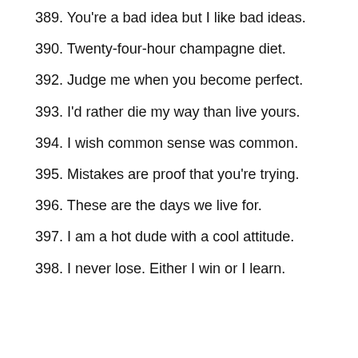389. You're a bad idea but I like bad ideas.
390. Twenty-four-hour champagne diet.
392. Judge me when you become perfect.
393. I'd rather die my way than live yours.
394. I wish common sense was common.
395. Mistakes are proof that you're trying.
396. These are the days we live for.
397. I am a hot dude with a cool attitude.
398. I never lose. Either I win or I learn.